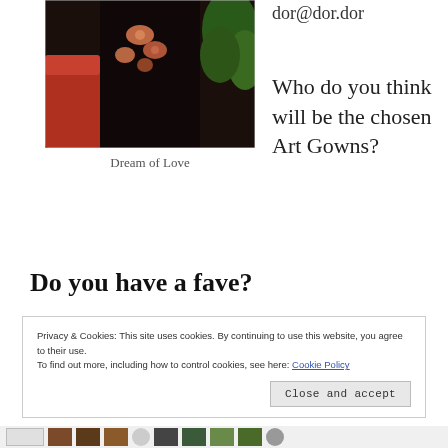[Figure (photo): A person wearing a dark gown with salmon/coral flowers and green foliage visible, standing near a red couch or chair.]
Dream of Love
dor@dor.dor
Who do you think will be the chosen Art Gowns?
Do you have a fave?
Privacy & Cookies: This site uses cookies. By continuing to use this website, you agree to their use.
To find out more, including how to control cookies, see here: Cookie Policy
Close and accept